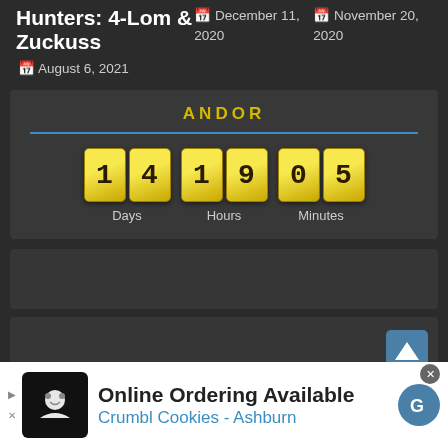Hunters: 4-Lom & Zuckuss
December 11, 2020
November 20, 2020
August 6, 2021
ANDOR
14 Days  19 Hours  05 Minutes
[Figure (infographic): Countdown timer widget showing ANDOR with 14 Days, 19 Hours, 05 Minutes in yellow flip-clock style digits on dark background]
[Figure (infographic): Gray placeholder bar with upward arrow button]
[Figure (infographic): Advertisement banner: Online Ordering Available - Crumbl Cookies - Ashburn with logo and G icon]